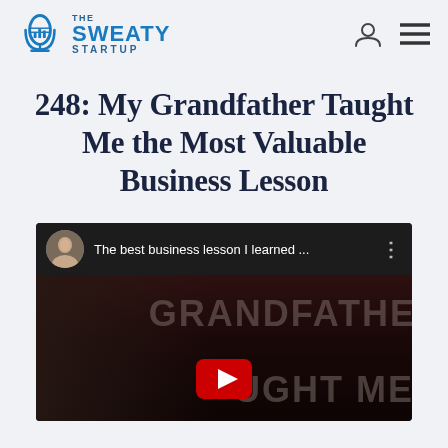The Sweaty Startup — navigation header with logo, user icon, and menu icon
248: My Grandfather Taught Me the Most Valuable Business Lesson
[Figure (screenshot): YouTube video embed thumbnail showing a man's face with the text 'The best business lesson I learned ...' and overlaid text 'GRANDFATHER' and 'UGHT ME' with a YouTube play button visible]